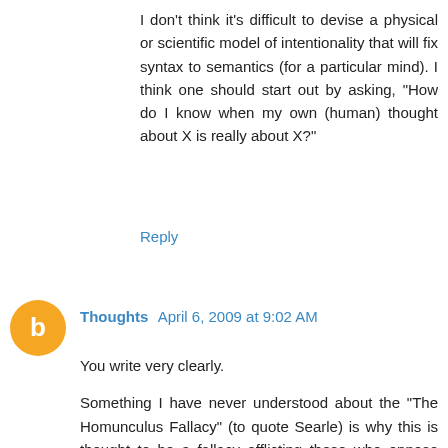I don't think it's difficult to devise a physical or scientific model of intentionality that will fix syntax to semantics (for a particular mind). I think one should start out by asking, "How do I know when my own (human) thought about X is really about X?"
Reply
Thoughts  April 6, 2009 at 9:02 AM
You write very clearly.
Something I have never understood about the "The Homunculus Fallacy" (to quote Searle) is why this is thought to be a fallacy afflicting those who oppose materialism rather than vice versa.
We all observe that we have minds that are empirically Cartesian (as described in Descartes' "Meditations"), if not analytically Cartesian, so if materialism cannot account for our empirical minds without the introduction of a non-existent homunculus then materialism is false.